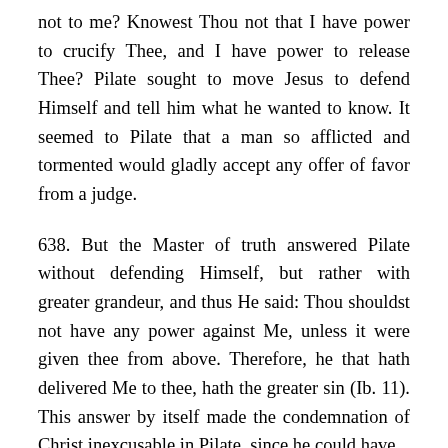not to me? Knowest Thou not that I have power to crucify Thee, and I have power to release Thee? Pilate sought to move Jesus to defend Himself and tell him what he wanted to know. It seemed to Pilate that a man so afflicted and tormented would gladly accept any offer of favor from a judge.
638. But the Master of truth answered Pilate without defending Himself, but rather with greater grandeur, and thus He said: Thou shouldst not have any power against Me, unless it were given thee from above. Therefore, he that hath delivered Me to thee, hath the greater sin (Ib. 11). This answer by itself made the condemnation of Christ inexcusable in Pilate, since he could have